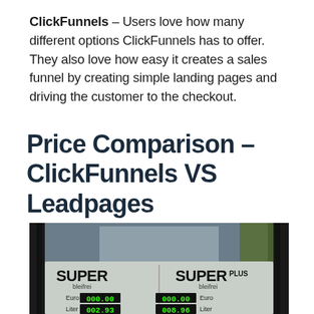ClickFunnels – Users love how many different options ClickFunnels has to offer. They also love how easy it creates a sales funnel by creating simple landing pages and driving the customer to the checkout.
Price Comparison – ClickFunnels VS Leadpages
[Figure (photo): Photo of a gas station price display sign showing two columns: SUPER bleifrei and SUPER PLUS bleifrei, with digital displays showing Euro and Liter prices. Euro displays show 000.00, Liter displays show 002.93 and 008.96, with Preis je Liter displays at bottom showing 000.0.]